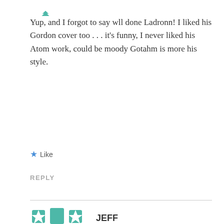[Figure (illustration): Partial teal/green decorative avatar icon at top left, only bottom portion visible]
Yup, and I forgot to say wll done Ladronn! I liked his Gordon cover too . . . it’s funny, I never liked his Atom work, could be moody Gotahm is more his style.
★ Like
REPLY
[Figure (illustration): Teal/green geometric mandala-style avatar icon for user JEFF]
JEFF
April 10, 2009 at 2:35 am
I think that’s just it. He is very well-suited to the darker, grittier corners, even if his work isn’t “gritty”. I also loved the Gordon cover. I wish he